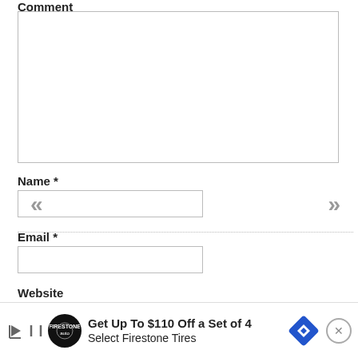Comment
[Figure (other): Comment text area input box]
Name *
[Figure (other): Name text input field with left double-arrow (<<) and right double-arrow (>>) navigation icons]
Email *
[Figure (other): Email text input field]
Website
[Figure (other): Advertisement banner: Get Up To $110 Off a Set of 4 Select Firestone Tires, with Firestone auto logo, blue diamond arrow icon, and close button]